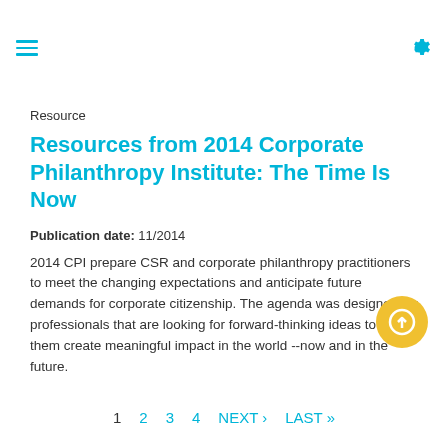Resource
Resources from 2014 Corporate Philanthropy Institute: The Time Is Now
Publication date: 11/2014
2014 CPI prepare CSR and corporate philanthropy practitioners to meet the changing expectations and anticipate future demands for corporate citizenship. The agenda was designed for professionals that are looking for forward-thinking ideas to help them create meaningful impact in the world --now and in the future.
1 2 3 4 NEXT › LAST »